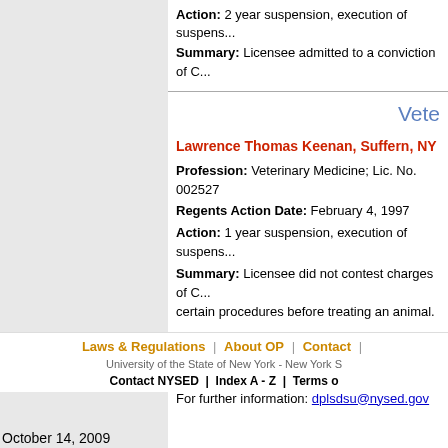Action: 2 year suspension, execution of suspens... Summary: Licensee admitted to a conviction of C...
Vete...
Lawrence Thomas Keenan, Suffern, NY
Profession: Veterinary Medicine; Lic. No. 002527 Regents Action Date: February 4, 1997 Action: 1 year suspension, execution of suspens... Summary: Licensee did not contest charges of C... certain procedures before treating an animal.
* Terms under which this information is provided.
For further information: dplsdsu@nysed.gov
Laws & Regulations | About OP | Contact | University of the State of New York - New York S Contact NYSED | Index A - Z | Terms o October 14, 2009